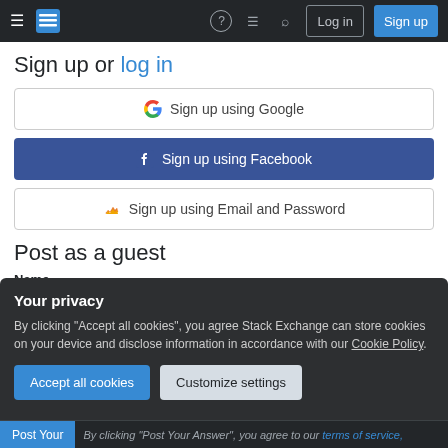Navigation bar with logo, help, inbox, search, Log in, Sign up buttons
Sign up or log in
[Figure (screenshot): Sign up using Google button]
[Figure (screenshot): Sign up using Facebook button]
[Figure (screenshot): Sign up using Email and Password button]
Post as a guest
Name
Your privacy
By clicking "Accept all cookies", you agree Stack Exchange can store cookies on your device and disclose information in accordance with our Cookie Policy.
Accept all cookies | Customize settings
Post Your | By clicking "Post Your Answer", you agree to our terms of service,